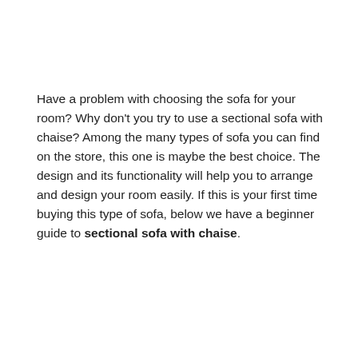Have a problem with choosing the sofa for your room? Why don't you try to use a sectional sofa with chaise? Among the many types of sofa you can find on the store, this one is maybe the best choice. The design and its functionality will help you to arrange and design your room easily. If this is your first time buying this type of sofa, below we have a beginner guide to sectional sofa with chaise.